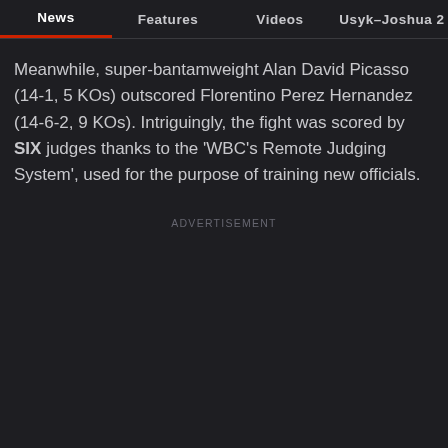News | Features | Videos | Usyk–Joshua 2
Meanwhile, super-bantamweight Alan David Picasso (14-1, 5 KOs) outscored Florentino Perez Hernandez (14-6-2, 9 KOs). Intriguingly, the fight was scored by SIX judges thanks to the 'WBC's Remote Judging System', used for the purpose of training new officials.
ADVERTISEMENT